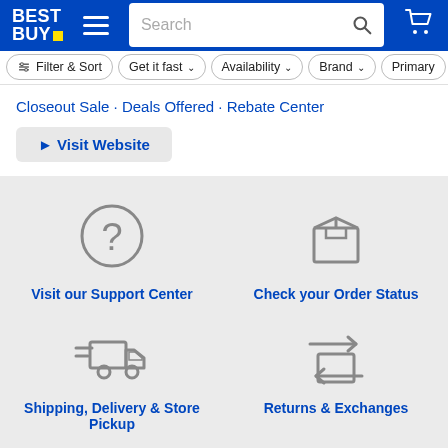[Figure (screenshot): Best Buy website header with logo, hamburger menu, search bar, and cart icon on blue background]
[Figure (screenshot): Filter bar with Filter & Sort, Get it fast, Availability, Brand, Primary buttons]
Closeout Sale · Deals Offered · Rebate Center
► Visit Website
[Figure (illustration): Question mark circle icon for Visit our Support Center]
Visit our Support Center
[Figure (illustration): Box/package icon for Check your Order Status]
Check your Order Status
[Figure (illustration): Delivery truck icon for Shipping, Delivery & Store Pickup]
Shipping, Delivery & Store Pickup
[Figure (illustration): Returns/exchanges box with arrows icon]
Returns & Exchanges